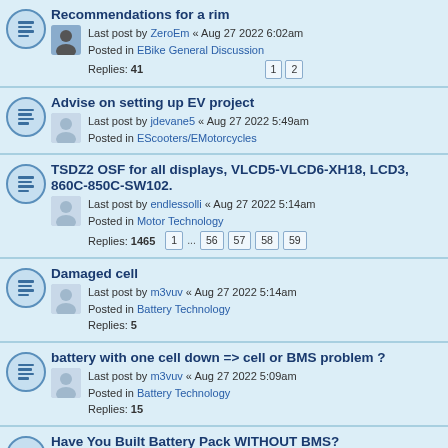Recommendations for a rim
Last post by ZeroEm « Aug 27 2022 6:02am
Posted in EBike General Discussion
Replies: 41 | pages: 1 2
Advise on setting up EV project
Last post by jdevane5 « Aug 27 2022 5:49am
Posted in EScooters/EMotorcycles
TSDZ2 OSF for all displays, VLCD5-VLCD6-XH18, LCD3, 860C-850C-SW102.
Last post by endlessolli « Aug 27 2022 5:14am
Posted in Motor Technology
Replies: 1465 | pages: 1 ... 56 57 58 59
Damaged cell
Last post by m3vuv « Aug 27 2022 5:14am
Posted in Battery Technology
Replies: 5
battery with one cell down => cell or BMS problem ?
Last post by m3vuv « Aug 27 2022 5:09am
Posted in Battery Technology
Replies: 15
Have You Built Battery Pack WITHOUT BMS?
Last post by m3vuv « Aug 27 2022 4:33am
Posted in Battery Technology
Replies: 16
Doc Allen's Versatool